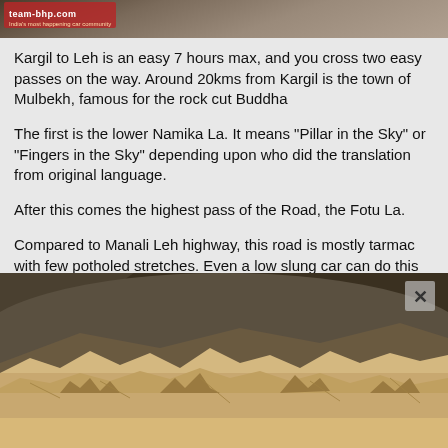[Figure (photo): Top landscape photo showing mountain terrain - Lamayuru Moonland area with brown rocky hills, partially obscured by the team-bhp.com logo banner]
Kargil to Leh is an easy 7 hours max, and you cross two easy passes on the way. Around 20kms from Kargil is the town of Mulbekh, famous for the rock cut Buddha
The first is the lower Namika La. It means "Pillar in the Sky" or "Fingers in the Sky" depending upon who did the translation from original language.
After this comes the highest pass of the Road, the Fotu La.
Compared to Manali Leh highway, this road is mostly tarmac with few potholed stretches. Even a low slung car can do this route with low difficulty.
An interesting sight on this highway is the Lamayuru Moonland
[Figure (photo): Photo of Lamayuru Moonland - barren eroded sandy/rocky landscape with layered yellowish-tan formations resembling a moonscape, with darker rocky hills in background]